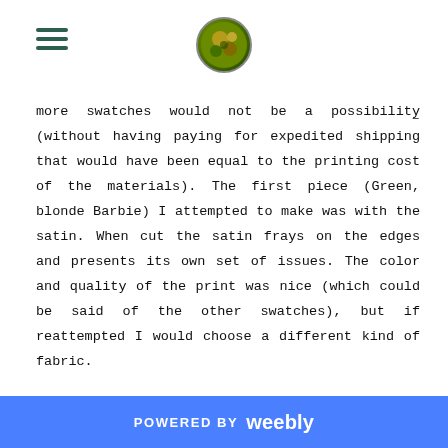[hamburger menu icon] [circular logo]
more swatches would not be a possibility (without having paying for expedited shipping that would have been equal to the printing cost of the materials). The first piece (Green, blonde Barbie) I attempted to make was with the satin. When cut the satin frays on the edges and presents its own set of issues. The color and quality of the print was nice (which could be said of the other swatches), but if reattempted I would choose a different kind of fabric.

    The second design (mostly yellow, black hair) was perhaps the easiest and probably my favorite of the three. The layout of the design works really well. It is also my favorite because the "model" is the only one of the three that is actually my doll (that I got from Downtown Disney). The third, the print turned out vibrant, but the finer details in the
POWERED BY weebly